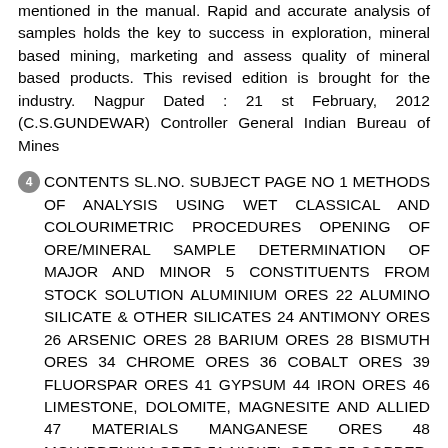mentioned in the manual. Rapid and accurate analysis of samples holds the key to success in exploration, mineral based mining, marketing and assess quality of mineral based products. This revised edition is brought for the industry. Nagpur Dated : 21 st February, 2012 (C.S.GUNDEWAR) Controller General Indian Bureau of Mines
4 CONTENTS SL.NO. SUBJECT PAGE NO 1 METHODS OF ANALYSIS USING WET CLASSICAL AND COLOURIMETRIC PROCEDURES OPENING OF ORE/MINERAL SAMPLE DETERMINATION OF MAJOR AND MINOR 5 CONSTITUENTS FROM STOCK SOLUTION ALUMINIUM ORES 22 ALUMINO SILICATE & OTHER SILICATES 24 ANTIMONY ORES 26 ARSENIC ORES 28 BARIUM ORES 28 BISMUTH ORES 34 CHROME ORES 36 COBALT ORES 39 FLUORSPAR ORES 41 GYPSUM 44 IRON ORES 46 LIMESTONE, DOLOMITE, MAGNESITE AND ALLIED 47 MATERIALS MANGANESE ORES 48 MOLYBDENUM ORES 51 NICKEL ORES 55 COPPER, LEAD, ZINC (POLYMETALLIC ORES) 58 PYRITES 59 ROCK PHOSPHATE AND APATITE 60 SELENIUM AND TELLURIUM 62 SILICA 64 TIN ORE 65 TITANIUM